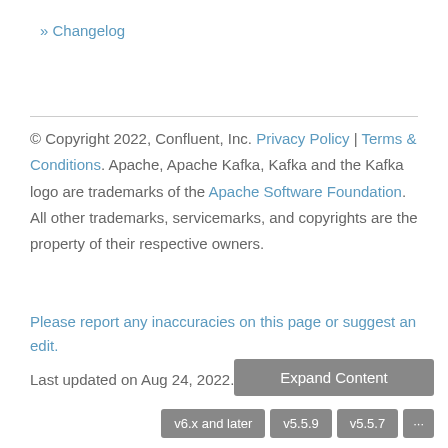» Changelog
© Copyright 2022, Confluent, Inc. Privacy Policy | Terms & Conditions. Apache, Apache Kafka, Kafka and the Kafka logo are trademarks of the Apache Software Foundation. All other trademarks, servicemarks, and copyrights are the property of their respective owners.
Please report any inaccuracies on this page or suggest an edit.
Last updated on Aug 24, 2022.
Expand Content
v6.x and later  v5.5.9  v5.5.7  ...